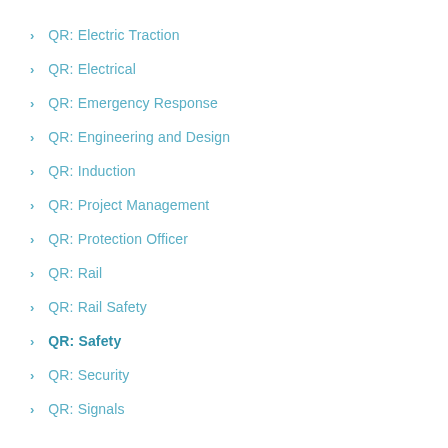QR: Electric Traction
QR: Electrical
QR: Emergency Response
QR: Engineering and Design
QR: Induction
QR: Project Management
QR: Protection Officer
QR: Rail
QR: Rail Safety
QR: Safety
QR: Security
QR: Signals